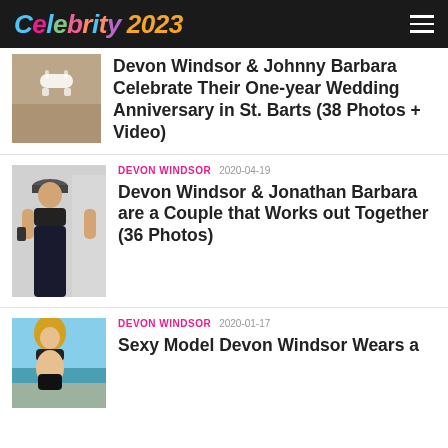Celebrity 2023
[Figure (photo): Cropped photo of woman in white bikini near rocks]
Devon Windsor & Johnny Barbara Celebrate Their One-year Wedding Anniversary in St. Barts (38 Photos + Video)
DEVON WINDSOR  2020-04-19
[Figure (photo): Woman in black sports bra and leggings wearing cap, holding phone]
Devon Windsor & Jonathan Barbara are a Couple that Works out Together (36 Photos)
DEVON WINDSOR  2020-01-17
[Figure (photo): Blonde woman in black bikini on beach]
Sexy Model Devon Windsor Wears a